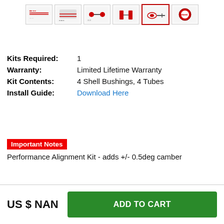[Figure (other): Row of 6 product thumbnail images showing alignment kit components and parts from different angles]
Kits Required: 1
Warranty: Limited Lifetime Warranty
Kit Contents: 4 Shell Bushings, 4 Tubes
Install Guide: Download Here
Important Notes
Performance Alignment Kit - adds +/- 0.5deg camber
US $ NAN
ADD TO CART